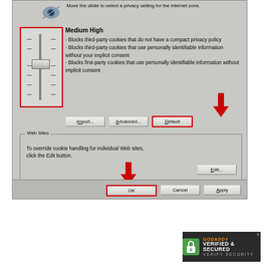[Figure (screenshot): Windows Internet Explorer privacy settings dialog screenshot showing Medium High privacy setting with slider control highlighted in red box, Default button highlighted with red arrow pointing to it, Web Sites section with Edit button, and OK button highlighted with red arrow pointing to it at the bottom.]
Back to Top
MOZILLA/FIREFOX
[Figure (logo): GoDaddy Verified & Secured badge with lock icon on dark background]